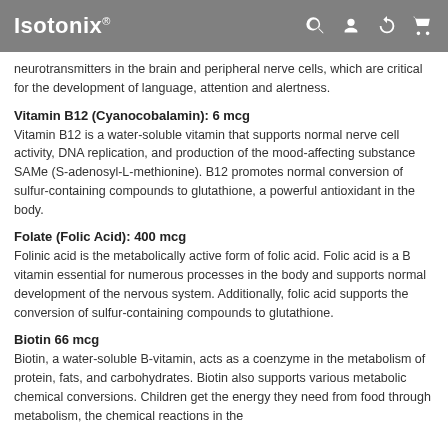Isotonix
neurotransmitters in the brain and peripheral nerve cells, which are critical for the development of language, attention and alertness.
Vitamin B12 (Cyanocobalamin): 6 mcg
Vitamin B12 is a water-soluble vitamin that supports normal nerve cell activity, DNA replication, and production of the mood-affecting substance SAMe (S-adenosyl-L-methionine). B12 promotes normal conversion of sulfur-containing compounds to glutathione, a powerful antioxidant in the body.
Folate (Folic Acid): 400 mcg
Folinic acid is the metabolically active form of folic acid. Folic acid is a B vitamin essential for numerous processes in the body and supports normal development of the nervous system. Additionally, folic acid supports the conversion of sulfur-containing compounds to glutathione.
Biotin 66 mcg
Biotin, a water-soluble B-vitamin, acts as a coenzyme in the metabolism of protein, fats, and carbohydrates. Biotin also supports various metabolic chemical conversions. Children get the energy they need from food through metabolism, the chemical reactions in the